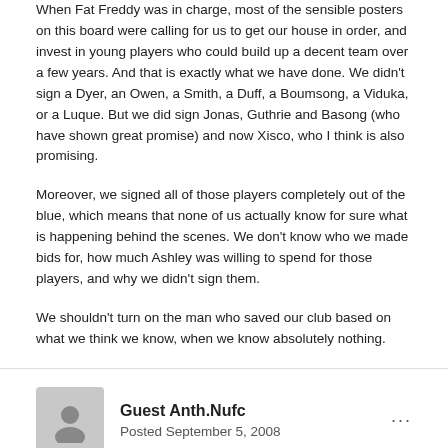When Fat Freddy was in charge, most of the sensible posters on this board were calling for us to get our house in order, and invest in young players who could build up a decent team over a few years. And that is exactly what we have done. We didn't sign a Dyer, an Owen, a Smith, a Duff, a Boumsong, a Viduka, or a Luque. But we did sign Jonas, Guthrie and Basong (who have shown great promise) and now Xisco, who I think is also promising.
Moreover, we signed all of those players completely out of the blue, which means that none of us actually know for sure what is happening behind the scenes. We don't know who we made bids for, how much Ashley was willing to spend for those players, and why we didn't sign them.
We shouldn't turn on the man who saved our club based on what we think we know, when we know absolutely nothing.
Guest Anth.Nufc
Posted September 5, 2008